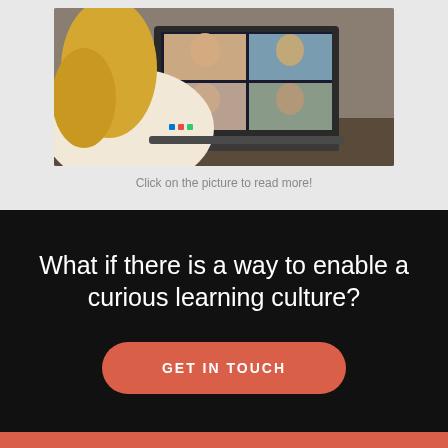[Figure (photo): A woman with long blonde hair viewed from behind, sitting at a desk with a laptop open showing a video conference call with four participants on screen.]
Click on the picture to read more!
What if there is a way to enable a curious learning culture?
GET IN TOUCH